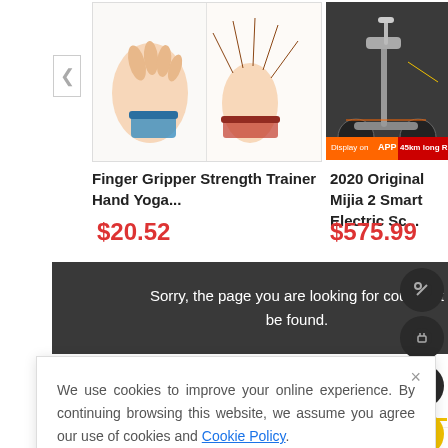[Figure (screenshot): Product listing thumbnail for Finger Gripper Strength Trainer Hand Yoga device showing hand exercise equipment]
Finger Gripper Strength Trainer Hand Yoga...
$20.52
[Figure (screenshot): Product listing thumbnail for 2020 Original Mijia 2 Smart Electric Scooter with Display on APP badge and 45km long range]
2020 Original Mijia 2 Smart Electric Sc...
$575.99
Sorry, the page you are looking for could not be found.
Description
Reviews(0)
Shipping & Payment
We use cookies to improve your online experience. By continuing browsing this website, we assume you agree our use of cookies and Cookie Policy.
Can Take Them Anywhere With You While Travelling.